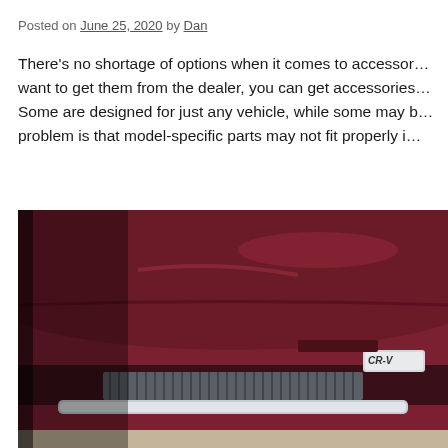Posted on June 25, 2020 by Dan
There's no shortage of options when it comes to accessories. If you don't want to get them from the dealer, you can get accessories from third parties. Some are designed for just any vehicle, while some may be model-specific. The problem is that model-specific parts may not fit properly i…
[Figure (photo): Close-up photo of the rear bumper area of a dark red/maroon Honda CR-V, showing a chrome bumper guard/protector strip and a ribbed rubber or plastic cargo step guard fitted below the trunk lid, with the Honda CR-V badge visible on the right side.]